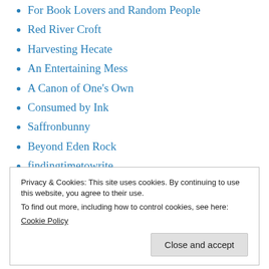For Book Lovers and Random People
Red River Croft
Harvesting Hecate
An Entertaining Mess
A Canon of One's Own
Consumed by Ink
Saffronbunny
Beyond Eden Rock
findingtimetowrite
Privacy & Cookies: This site uses cookies. By continuing to use this website, you agree to their use.
To find out more, including how to control cookies, see here:
Cookie Policy
Close and accept